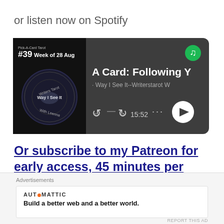or listen now on Spotify
[Figure (screenshot): Spotify podcast embed card showing episode #39 'A Card: Following Y...' from 'Way I See It--Writerstarot W...' with podcast artwork, playback controls, and 15:52 duration]
Or subscribe to my Patreon for early access, 45 minutes per sign Birthday
Advertisements
AUTOMATTIC
Build a better web and a better world.